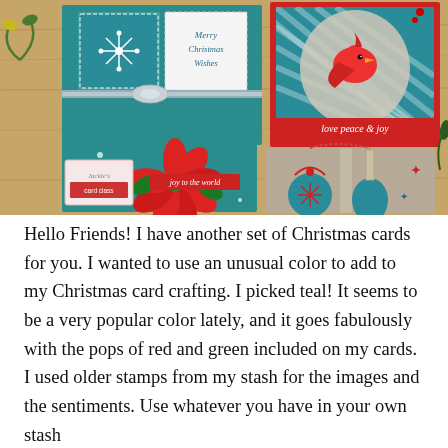[Figure (photo): A collection of teal-colored Christmas handmade cards featuring snowflakes, a red cardinal bird with 'love peace & joy', a poinsettia with 'joy to the world', and ornaments. Jackie's logo visible in lower left.]
Hello Friends! I have another set of Christmas cards for you. I wanted to use an unusual color to add to my Christmas card crafting. I picked teal! It seems to be a very popular color lately, and it goes fabulously with the pops of red and green included on my cards. I used older stamps from my stash for the images and the sentiments. Use whatever you have in your own stash